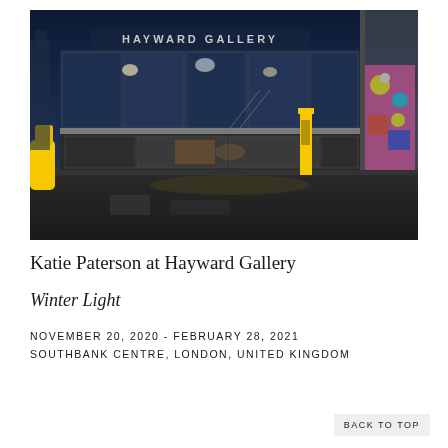[Figure (photo): Night photograph of the exterior of Hayward Gallery, Southbank Centre, London. The building has large glass windows with interior lighting visible. A yellow pillar stands near the entrance, and a colorful artwork is displayed on the right side of the building. The Hayward Gallery sign is illuminated on top of the structure. Yellow barriers are visible on the left foreground.]
Katie Paterson at Hayward Gallery
Winter Light
NOVEMBER 20, 2020 - FEBRUARY 28, 2021
SOUTHBANK CENTRE, LONDON, UNITED KINGDOM
BACK TO TOP